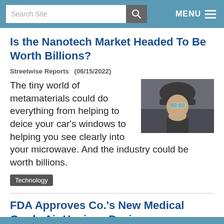Search Site | MENU
Is the Nanotech Market Headed To Be Worth Billions?
Streetwise Reports  (06/15/2022)
[Figure (photo): A soldier wearing a helmet and protective eyewear, looking forward against a dark background.]
The tiny world of metamaterials could do everything from helping to deice your car’s windows to helping you see clearly into your microwave. And the industry could be worth billions.
Technology
FDA Approves Co.'s New Medical Grade Air Hygiene Device